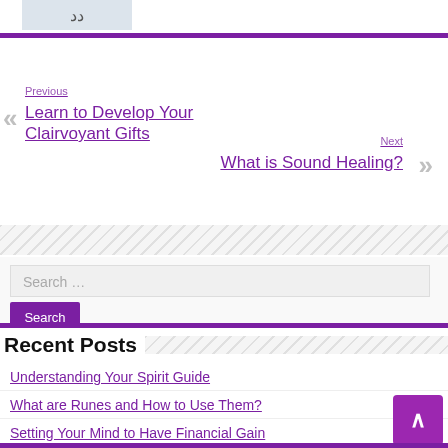[Figure (illustration): Small thumbnail image with Arabic-like characters]
Previous
Learn to Develop Your Clairvoyant Gifts
Next
What is Sound Healing?
Search …
Search
Recent Posts
Understanding Your Spirit Guide
What are Runes and How to Use Them?
Setting Your Mind to Have Financial Gain